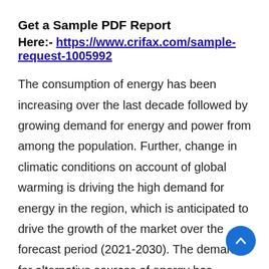Get a Sample PDF Report
Here:- https://www.crifax.com/sample-request-1005992
The consumption of energy has been increasing over the last decade followed by growing demand for energy and power from among the population. Further, change in climatic conditions on account of global warming is driving the high demand for energy in the region, which is anticipated to drive the growth of the market over the forecast period (2021-2030). The demand for alternative sources of energy has increased and many methods are being explored to generate power through